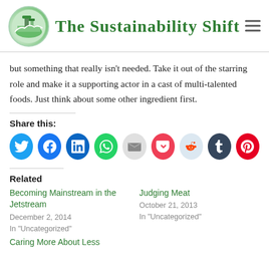The Sustainability Shift
but something that really isn't needed. Take it out of the starring role and make it a supporting actor in a cast of multi-talented foods. Just think about some other ingredient first.
Share this:
[Figure (infographic): Row of 9 social sharing icon circles: Twitter (blue), Facebook (blue), LinkedIn (dark blue), WhatsApp (green), Email (gray), Pocket (red), Reddit (light blue), Tumblr (dark navy), Pinterest (red)]
Related
Becoming Mainstream in the Jetstream
December 2, 2014
In "Uncategorized"
Judging Meat
October 21, 2013
In "Uncategorized"
Caring More About Less